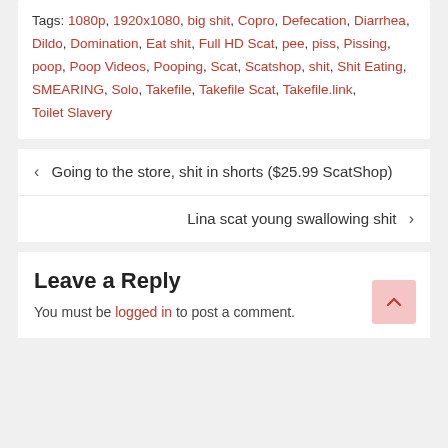Tags: 1080p, 1920x1080, big shit, Copro, Defecation, Diarrhea, Dildo, Domination, Eat shit, Full HD Scat, pee, piss, Pissing, poop, Poop Videos, Pooping, Scat, Scatshop, shit, Shit Eating, SMEARING, Solo, Takefile, Takefile Scat, Takefile.link, Toilet Slavery
< Going to the store, shit in shorts ($25.99 ScatShop)
Lina scat young swallowing shit >
Leave a Reply
You must be logged in to post a comment.